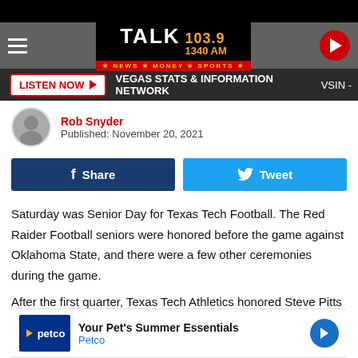[Figure (screenshot): Talk 103.9 / 1340 AM radio station logo — NEWS MONEY SPORTS tagline, with hamburger menu and play button]
LISTEN NOW ▶   VEGAS STATS & INFORMATION NETWORK   VSIN -
Rob Snyder
Published: November 20, 2021
f  Share    🐦  Tweet
Saturday was Senior Day for Texas Tech Football. The Red Raider Football seniors were honored before the game against Oklahoma State, and there were a few other ceremonies during the game.
After the first quarter, Texas Tech Athletics honored Steve Pitts a[...] dio crew. P[...] igineer
[Figure (screenshot): Petco advertisement banner — Your Pet's Summer Essentials]